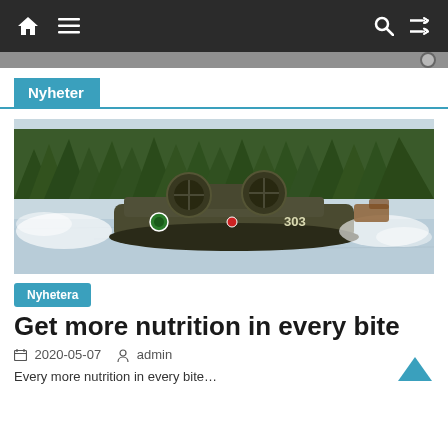Navigation bar with home, menu, search, and shuffle icons
Nyheter
[Figure (photo): Military hovercraft numbered 303 moving across an icy lake with pine forest in background, spray of snow/water around it]
Nyhetera
Get more nutrition in every bite
2020-05-07   admin
Every more nutrition in every bite...